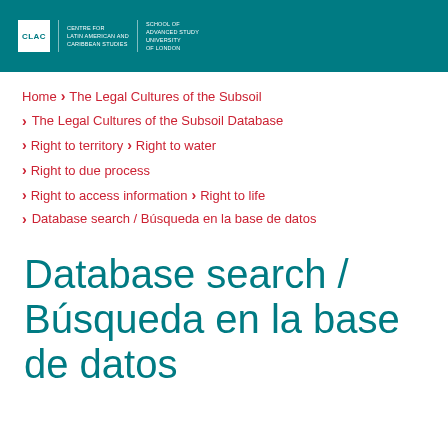CLAC | Centre for Latin American and Caribbean Studies | School of Advanced Study, University of London
Home > The Legal Cultures of the Subsoil
The Legal Cultures of the Subsoil Database
Right to territory > Right to water
Right to due process
Right to access information > Right to life
Database search / Búsqueda en la base de datos
Database search / Búsqueda en la base de datos